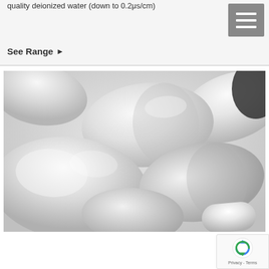quality deionized water (down to 0.2μs/cm)
See Range ▶
[Figure (photo): Close-up photograph of multiple white pharmaceutical tablets/pills piled together against a light background]
Brominators & Tablet Holders
Accepta's range of precision engineered